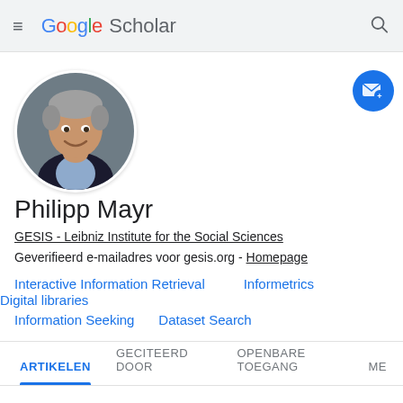Google Scholar
[Figure (photo): Circular profile photo of Philipp Mayr, a middle-aged man with gray-streaked hair, wearing a dark jacket and light blue shirt, smiling, against a dark background]
Philipp Mayr
GESIS - Leibniz Institute for the Social Sciences
Geverifieerd e-mailadres voor gesis.org - Homepage
Interactive Information Retrieval
Informetrics
Digital libraries
Information Seeking
Dataset Search
ARTIKELEN  GECITEERD DOOR  OPENBARE TOEGANG  ME...
SORTEREN ▾  GECITEERD DOOR